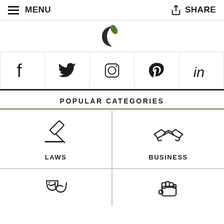MENU | SHARE
[Figure (logo): Cannabis-related website logo - crescent moon with leaf]
[Figure (infographic): Social media icons row: Facebook, Twitter, Instagram, Pinterest, LinkedIn]
POPULAR CATEGORIES
[Figure (infographic): Category card: gavel/hammer icon labeled LAWS]
[Figure (infographic): Category card: handshake icon labeled BUSINESS]
[Figure (infographic): Category card: partial icon visible at bottom (culture/entertainment)]
[Figure (infographic): Category card: fist icon visible at bottom]